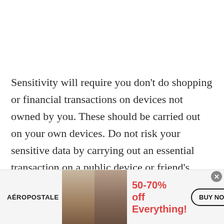Sensitivity will require you don't do shopping or financial transactions on devices not owned by you. These should be carried out on your own devices. Do not risk your sensitive data by carrying out an essential transaction on a public device or friend's gadget.
[Figure (other): Advertisement banner for Aéropostale showing two female models, promotional text '50-70% off Everything!' in red, and a 'BUY NOW' button.]